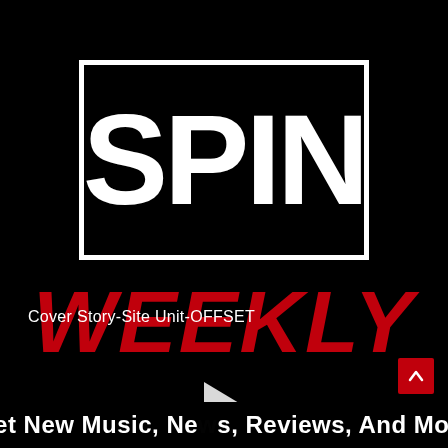[Figure (logo): SPIN logo — white text 'SPIN' inside a white-bordered black rectangle]
WEEKLY
Cover Story-Site Unit-OFFSET
[Figure (illustration): White play button triangle icon]
[Figure (illustration): Red square button with white upward chevron arrow]
Get New Music, News, Reviews, And More